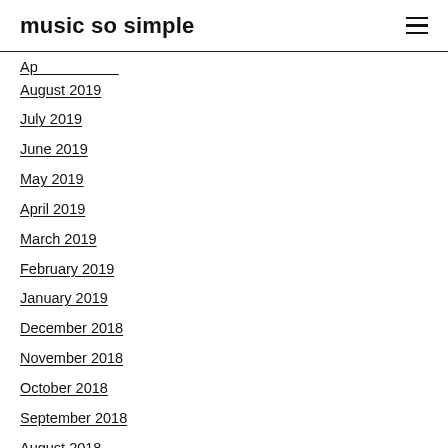music so simple
August 2019
July 2019
June 2019
May 2019
April 2019
March 2019
February 2019
January 2019
December 2018
November 2018
October 2018
September 2018
August 2018
July 2018
June 2018
May 2018